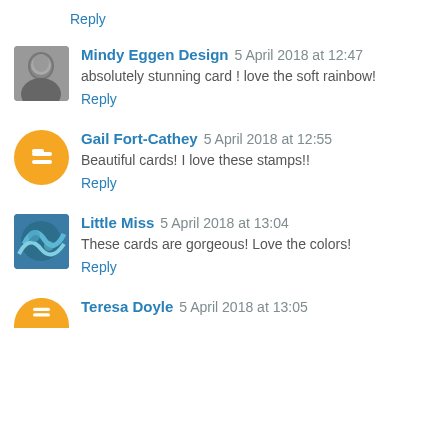Reply
[Figure (photo): Grayscale avatar photo of Mindy Eggen Design commenter]
Mindy Eggen Design 5 April 2018 at 12:47
absolutely stunning card ! love the soft rainbow!
Reply
[Figure (logo): Blogger orange circle logo avatar for Gail Fort-Cathey]
Gail Fort-Cathey 5 April 2018 at 12:55
Beautiful cards! I love these stamps!!
Reply
[Figure (photo): Blue swirled avatar photo for Little Miss commenter]
Little Miss 5 April 2018 at 13:04
These cards are gorgeous! Love the colors!
Reply
[Figure (logo): Orange circle avatar (partially visible) for Teresa Doyle]
Teresa Doyle 5 April 2018 at 13:05